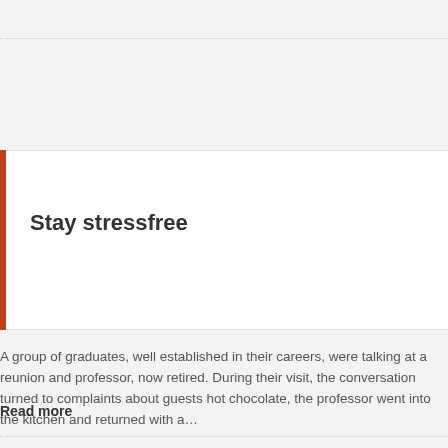Stay stressfree
A group of graduates, well established in their careers, were talking at a reunion and professor, now retired. During their visit, the conversation turned to complaints about guests hot chocolate, the professor went into the kitchen and returned with a…
Read more